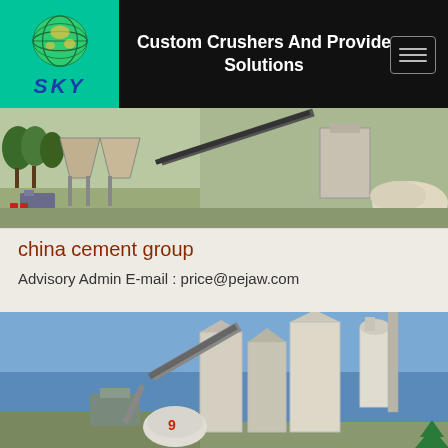Custom Crushers And Provide Solutions
[Figure (photo): Industrial quarry/crusher site with conveyor belts, hoppers, and machinery]
china cement group
Advisory Admin E-mail : price@pejaw.com
[Figure (photo): Industrial cement plant with silos, dust collectors, conveyors under blue sky]